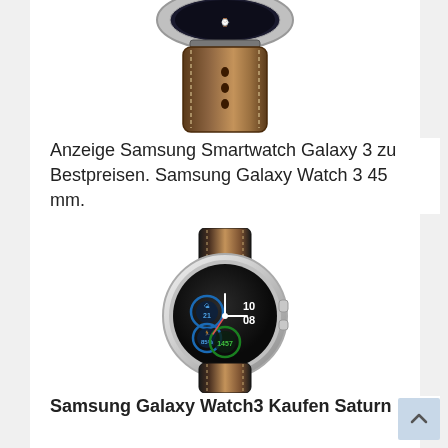[Figure (photo): Samsung Galaxy Watch 3 smartwatch with black leather band, partially cropped showing the top strap and dial area with silver case, photographed from above on white background]
Anzeige Samsung Smartwatch Galaxy 3 zu Bestpreisen. Samsung Galaxy Watch 3 45 mm.
[Figure (photo): Samsung Galaxy Watch 3 45mm smartwatch with silver stainless steel case and black leather strap, front-facing view showing circular watch face with clock showing 10:08, fitness tracking dials with circular widgets in blue and green]
Samsung Galaxy Watch3 Kaufen Saturn